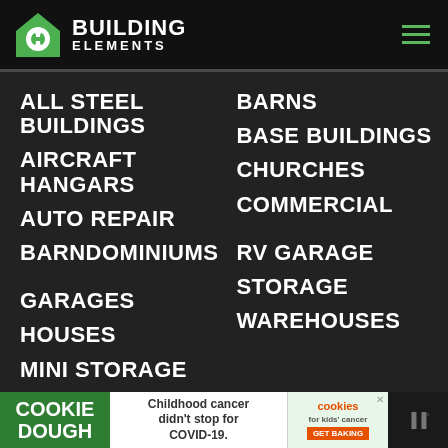[Figure (logo): Building Elements logo with green house icon and white text]
ALL STEEL BUILDINGS
AIRCRAFT HANGARS
AUTO REPAIR
BARNDOMINIUMS
BARNS
BASE BUILDINGS
CHURCHES
COMMERCIAL
GARAGES
HOUSES
MINI STORAGE
RV GARAGE
STORAGE
WAREHOUSES
[Figure (infographic): Cookie Dough advertisement banner: Childhood cancer didn't stop for COVID-19. Cookies for kids cancer GET BAKING]